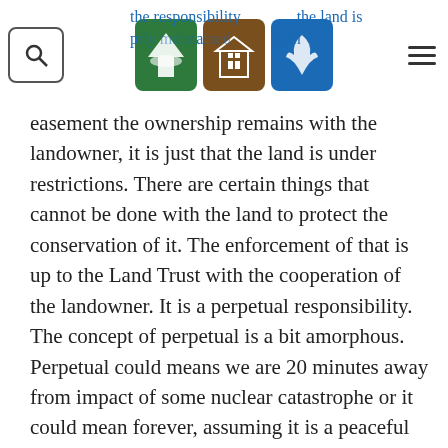the responsibility that the land is properly maintained. There is an
easement the ownership remains with the landowner, it is just that the land is under restrictions. There are certain things that cannot be done with the land to protect the conservation of it. The enforcement of that is up to the Land Trust with the cooperation of the landowner. It is a perpetual responsibility. The concept of perpetual is a bit amorphous. Perpetual could means we are 20 minutes away from impact of some nuclear catastrophe or it could mean forever, assuming it is a peaceful world. That is a significant responsibility. The Land Trust has to build its resources; it has to be able to administer. It has to have people on the Land Trust need donations to support it. All these properties have restrictions are basically for the public benefit. A fair number of them